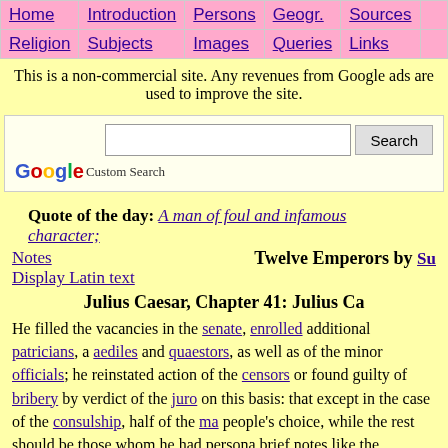| Home | Introduction | Persons | Geogr. | Sources |  |
| --- | --- | --- | --- | --- | --- |
| Home | Introduction | Persons | Geogr. | Sources |  |
| Religion | Subjects | Images | Queries | Links |  |
This is a non-commercial site. Any revenues from Google ads are used to improve the site.
[Figure (other): Google Custom Search bar with text input and Search button]
Quote of the day: A man of foul and infamous character;
Notes	Twelve Emperors by Su
Display Latin text
Julius Caesar, Chapter 41: Julius Ca
He filled the vacancies in the senate, enrolled additional patricians, a aediles and quaestors, as well as of the minor officials; he reinstated action of the censors or found guilty of bribery by verdict of the juro on this basis: that except in the case of the consulship, half of the ma people's choice, while the rest should be those whom he had persona brief notes like the following, circulated in each tribe: Caesar the dic you so and so, to hold their positions by your votes. He admitted to o